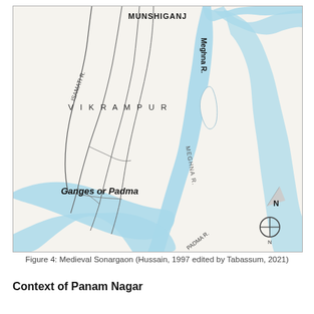[Figure (map): Historical map of Medieval Sonargaon showing rivers including Ganges or Padma, Meghna R., Isamati R., and the region of Vikrampur. The map shows blue waterways on a cream background with geographic labels. Includes a north arrow compass. Location of Munshiganj is labeled at top.]
Figure 4: Medieval Sonargaon (Hussain, 1997 edited by Tabassum, 2021)
Context of Panam Nagar